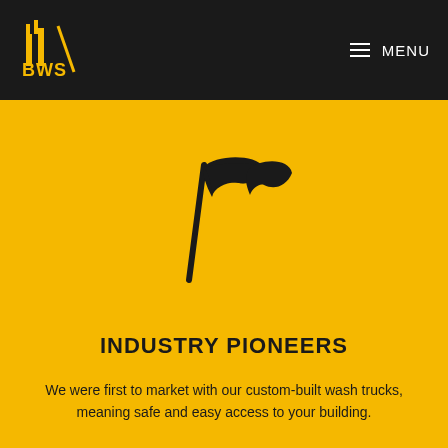BWS [logo] MENU
[Figure (illustration): Two waving flags icon in black on yellow background]
INDUSTRY PIONEERS
We were first to market with our custom-built wash trucks, meaning safe and easy access to your building.